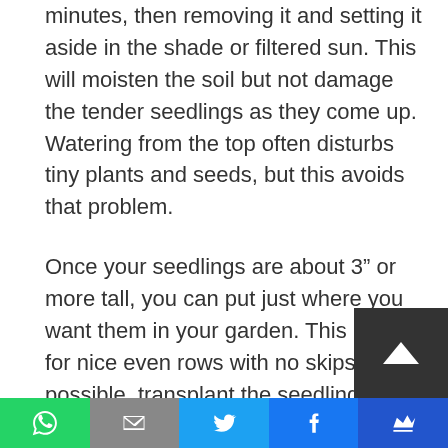in the water bath for a couple of minutes, then removing it and setting it aside in the shade or filtered sun. This will moisten the soil but not damage the tender seedlings as they come up. Watering from the top often disturbs tiny plants and seeds, but this avoids that problem.
Once your seedlings are about 3" or more tall, you can put just where you want them in your garden. This makes for nice even rows with no skips. When possible, transplant the seedlings to their garden spot just before a rain and or after the sun has set. Shade them